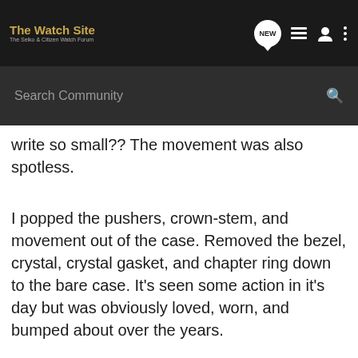The Watch Site — The Seiko & Citizen Watch Forum
write so small?? The movement was also spotless.
I popped the pushers, crown-stem, and movement out of the case. Removed the bezel, crystal, crystal gasket, and chapter ring down to the bare case. It's seen some action in it's day but was obviously loved, worn, and bumped about over the years.